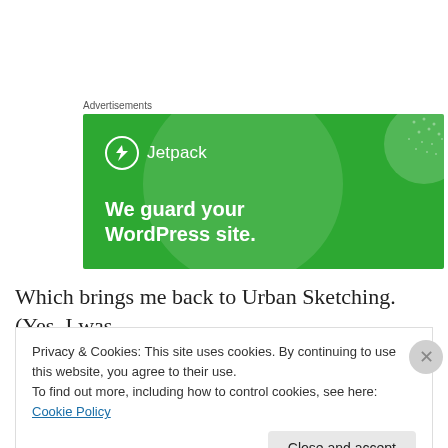Advertisements
[Figure (illustration): Jetpack advertisement banner on green background with text 'We guard your WordPress site.' and Jetpack logo with lightning bolt icon]
Which brings me back to Urban Sketching.  (Yes, I was
Privacy & Cookies: This site uses cookies. By continuing to use this website, you agree to their use.
To find out more, including how to control cookies, see here: Cookie Policy
Close and accept